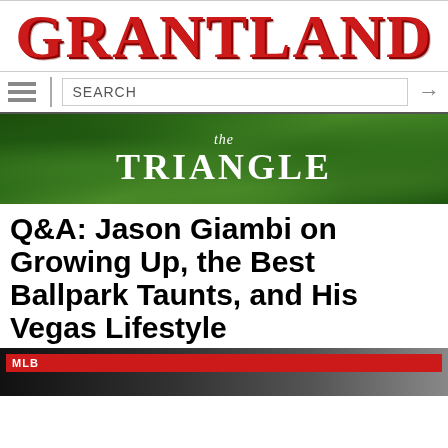GRANTLAND
SEARCH
[Figure (illustration): The Triangle banner — dark background with grass texture, text reading 'the TRIANGLE' in white]
Q&A: Jason Giambi on Growing Up, the Best Ballpark Taunts, and His Vegas Lifestyle
[Figure (photo): Bottom partial photo strip with MLB badge in red, dark background showing partial figure]